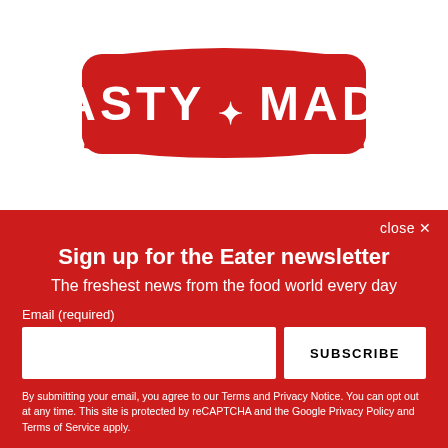[Figure (logo): Tasty Made logo — red badge shape with white bold text reading TASTY * MADE]
close ✕
Sign up for the Eater newsletter
The freshest news from the food world every day
Email (required)
SUBSCRIBE
By submitting your email, you agree to our Terms and Privacy Notice. You can opt out at any time. This site is protected by reCAPTCHA and the Google Privacy Policy and Terms of Service apply.